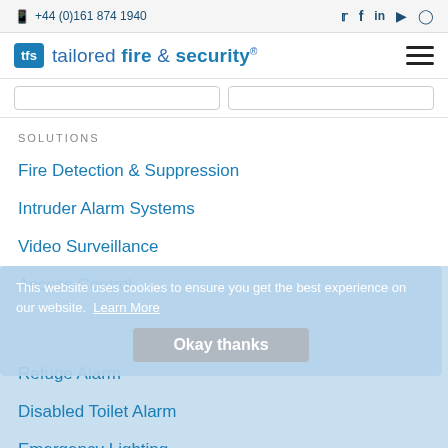+44 (0)161 874 1940
[Figure (logo): tfs tailored fire & security logo with hamburger menu]
SOLUTIONS
Fire Detection & Suppression
Intruder Alarm Systems
Video Surveillance
Access Control
This website uses cookies to ensure you get the best experience on our website. Learn More
Refuge Alarm
Disabled Toilet Alarm
Emergency Lighting
Nurse Call